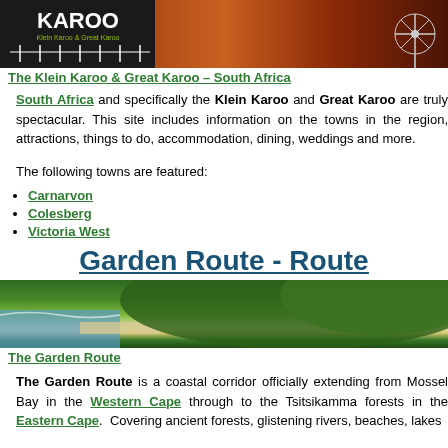[Figure (photo): Header banner image of Klein Karoo with logo on left and windmill on right against orange/brown sky]
The Klein Karoo & Great Karoo – South Africa
South Africa and specifically the Klein Karoo and Great Karoo are truly spectacular. This site includes information on the towns in the region, attractions, things to do, accommodation, dining, weddings and more.
The following towns are featured:
Carnarvon
Colesberg
Victoria West
Garden Route - Route
[Figure (photo): Aerial photograph of the Garden Route coastline showing green forested hills, sandy beach, and ocean]
The Garden Route
The Garden Route is a coastal corridor officially extending from Mossel Bay in the Western Cape through to the Tsitsikamma forests in the Eastern Cape. Covering ancient forests, glistening rivers, beaches, lakes